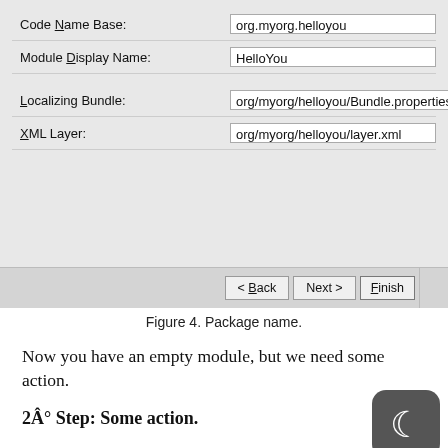[Figure (screenshot): A software wizard dialog showing form fields: Code Name Base (org.myorg.helloyou), Module Display Name (HelloYou), Localizing Bundle (org/myorg/helloyou/Bundle.properties), XML Layer (org/myorg/helloyou/layer.xml), with Back, Next and Finish buttons at the bottom.]
Figure 4. Package name.
Now you have an empty module, but we need some action.
2Â° Step: Some action.